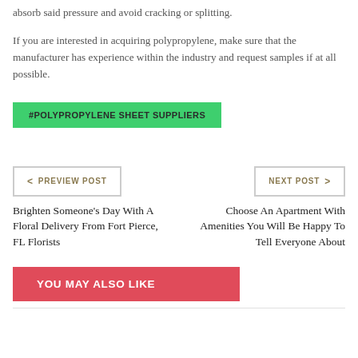absorb said pressure and avoid cracking or splitting.
If you are interested in acquiring polypropylene, make sure that the manufacturer has experience within the industry and request samples if at all possible.
#POLYPROPYLENE SHEET SUPPLIERS
< PREVIEW POST
NEXT POST >
Brighten Someone's Day With A Floral Delivery From Fort Pierce, FL Florists
Choose An Apartment With Amenities You Will Be Happy To Tell Everyone About
YOU MAY ALSO LIKE